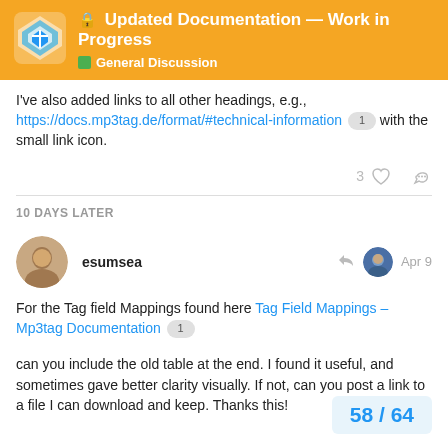Updated Documentation — Work in Progress
General Discussion
I've also added links to all other headings, e.g., https://docs.mp3tag.de/format/#technical-information 1 with the small link icon.
10 DAYS LATER
esumsea  Apr 9
For the Tag field Mappings found here Tag Field Mappings – Mp3tag Documentation 1
can you include the old table at the end. I found it useful, and sometimes gave better clarity visually. If not, can you post a link to a file I can download and keep. Thanks this!
58 / 64